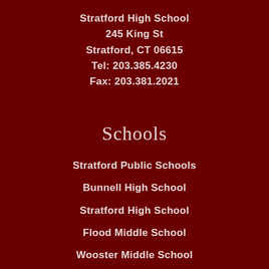Stratford High School
245 King St
Stratford, CT 06615
Tel: 203.385.4230
Fax: 203.381.2021
Schools
Stratford Public Schools
Bunnell High School
Stratford High School
Flood Middle School
Wooster Middle School